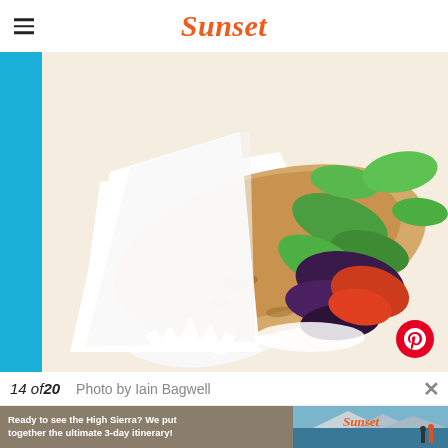Sunset
[Figure (photo): A flatbread wrap filled with roasted vegetables including eggplant, red peppers, and greens, wrapped in white paper, with white sauce dripping, on a light wooden surface.]
14 of20    Photo by Iain Bagwell
[Figure (photo): Advertisement banner: 'Ready to see the High Sierra? We put together the ultimate 3-day itinerary!' with Sunset logo and a scenic mountain lake photo.]